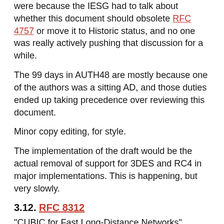were because the IESG had to talk about whether this document should obsolete RFC 4757 or move it to Historic status, and no one was really actively pushing that discussion for a while.
The 99 days in AUTH48 are mostly because one of the authors was a sitting AD, and those duties ended up taking precedence over reviewing this document.
Minor copy editing, for style.
The implementation of the draft would be the actual removal of support for 3DES and RC4 in major implementations. This is happening, but very slowly.
3.12. RFC 8312
"CUBIC for Fast Long-Distance Networks" [RFC8312]
Status (Length):    Informational (18 pages)
Overview:           2 individual drafts; 8